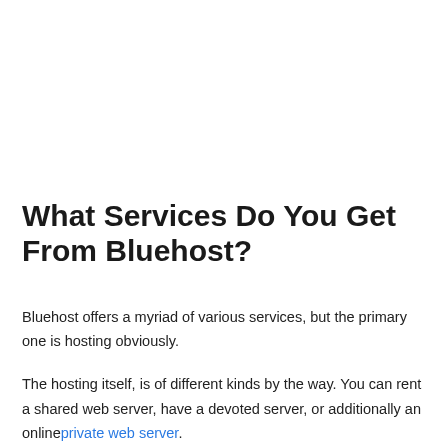What Services Do You Get From Bluehost?
Bluehost offers a myriad of various services, but the primary one is hosting obviously.
The hosting itself, is of different kinds by the way. You can rent a shared web server, have a devoted server, or additionally an online private web server.